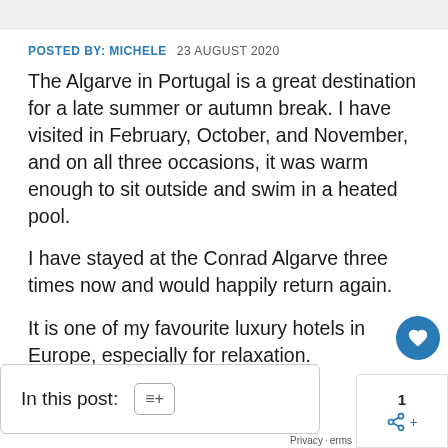POSTED BY: MICHELE   23 AUGUST 2020
The Algarve in Portugal is a great destination for a late summer or autumn break. I have visited in February, October, and November, and on all three occasions, it was warm enough to sit outside and swim in a heated pool.

I have stayed at the Conrad Algarve three times now and would happily return again.

It is one of my favourite luxury hotels in Europe, especially for relaxation.
In this post: